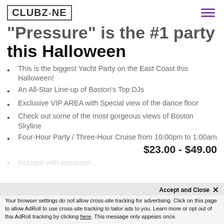ClubZone
Pressure is the #1 Party this Halloween
This is the biggest Yacht Party on the East Coast this Halloween!
An All-Star Line-up of Boston's Top DJs
Exclusive VIP AREA with Special view of the dance floor
Check out some of the most gorgeous views of Boston Skyline
Four-Hour Party / Three-Hour Cruise from 10:00pm to 1:00am
$23.00 - $49.00
Accept and Close ×
Your browser settings do not allow cross-site tracking for advertising. Click on this page to allow AdRoll to use cross-site tracking to tailor ads to you. Learn more or opt out of this AdRoll tracking by clicking here. This message only appears once.